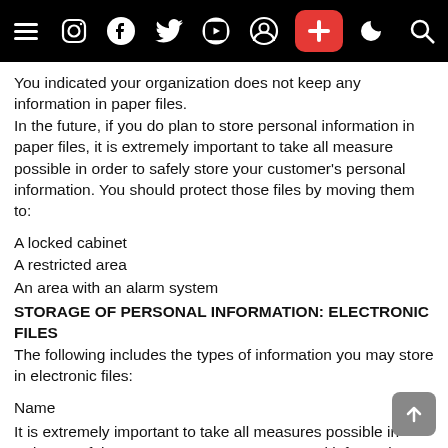Navigation bar with social media icons: menu, Instagram, Facebook, Twitter, YouTube, user, plus (red), dark mode, search
You indicated your organization does not keep any information in paper files.
In the future, if you do plan to store personal information in paper files, it is extremely important to take all measure possible in order to safely store your customer's personal information. You should protect those files by moving them to:
A locked cabinet
A restricted area
An area with an alarm system
STORAGE OF PERSONAL INFORMATION: ELECTRONIC FILES
The following includes the types of information you may store in electronic files:
Name
It is extremely important to take all measures possible in order to safely store your customer's personal information. Try the following methods to protect those files by using:
Computer passwords